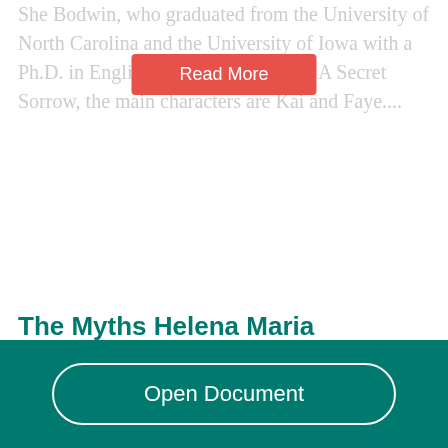She Bodwin, who graduated from the University of North Carolina and the University of Iowa with a Ph.D. in English. In the excerpt from A Secret Sorrow, the main characters are Kai and Faye....
[Figure (other): Red 'Read More' button overlay]
The Myths Helena Maria Viramontes Analysis
1778 Words  | 8 Pages
Not only does this story represent life and death but
[Figure (other): Teal bottom bar with 'Open Document' button]